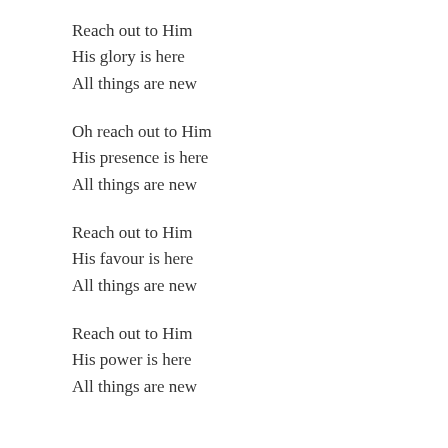Reach out to Him
His glory is here
All things are new
Oh reach out to Him
His presence is here
All things are new
Reach out to Him
His favour is here
All things are new
Reach out to Him
His power is here
All things are new